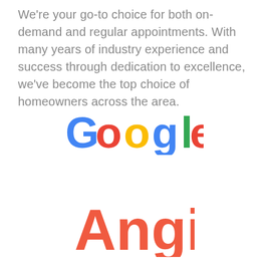We're your go-to choice for both on-demand and regular appointments. With many years of industry experience and success through dedication to excellence, we've become the top choice of homeowners across the area.
[Figure (logo): Google logo in standard multicolor typography]
[Figure (logo): Angi logo in coral/orange-red color]